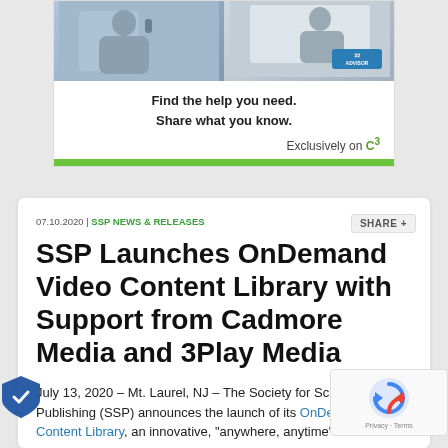[Figure (screenshot): Advertisement banner with two photos (person on phone, person writing at desk) and text 'Find the help you need. Share what you know. Exclusively on C³' with a green bar at bottom and an Advisor badge]
07.10.2020 | SSP NEWS & RELEASES
SSP Launches OnDemand Video Content Library with Support from Cadmore Media and 3Play Media
July 13, 2020 – Mt. Laurel, NJ – The Society for Scholarly Publishing (SSP) announces the launch of its OnDemand Video Content Library, an innovative, "anywhere, anytime"